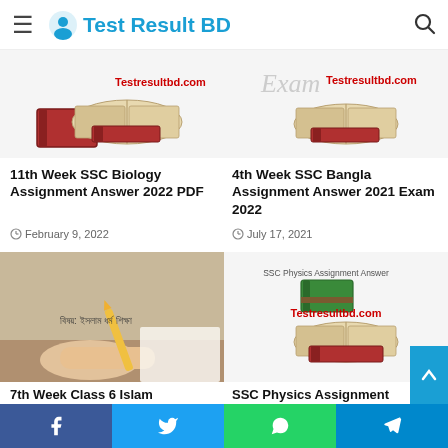Test Result BD
[Figure (illustration): Book and Testresultbd.com logo graphic for 11th Week SSC Biology Assignment]
11th Week SSC Biology Assignment Answer 2022 PDF
February 9, 2022
[Figure (illustration): Book and Testresultbd.com logo graphic for 4th Week SSC Bangla Assignment]
4th Week SSC Bangla Assignment Answer 2021 Exam 2022
July 17, 2021
[Figure (photo): Student writing with pencil, Islam assignment topic text overlay]
7th Week Class 6 Islam Assignment Answer 2021 Updated
[Figure (illustration): SSC Physics Assignment Answer book graphic with Testresultbd.com logo]
SSC Physics Assignment Answer 2021 Pdf 8th 7th Week Answer
Facebook | Twitter | WhatsApp | Telegram